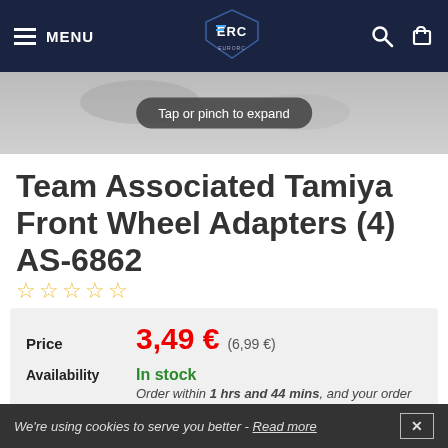MENU | EuroRC logo | Search | Cart
[Figure (photo): Product image with 'Tap or pinch to expand' overlay button]
Team Associated Tamiya Front Wheel Adapters (4) AS-6862
★★★★★ (star rating, empty)
Price: 3,49 € (6,99 €)
Availability: In stock. Order within 1 hrs and 44 mins, and your order will be shipped today.
We're using cookies to serve you better - Read more [X]